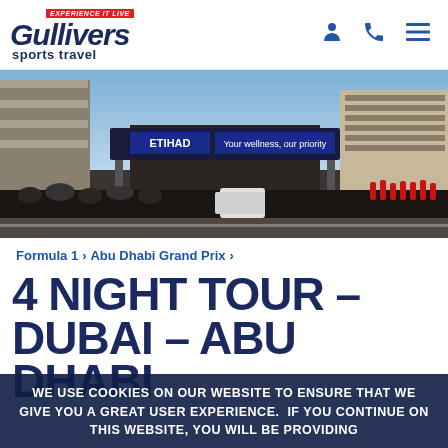[Figure (logo): Gullivers Sports Travel logo with 'Experience It Live' tagline in red banner]
[Figure (photo): Abu Dhabi Grand Prix race track photo showing pit lane with Etihad Airways banner 'Your wellness, our priority', grandstands filled with spectators, and pit crew in red uniforms]
Formula 1  >  Abu Dhabi Grand Prix  >
4 NIGHT TOUR – DUBAI – ABU DHABI
WE USE COOKIES ON OUR WEBSITE TO ENSURE THAT WE GIVE YOU A GREAT USER EXPERIENCE.  IF YOU CONTINUE ON THIS WEBSITE, YOU WILL BE PROVIDING